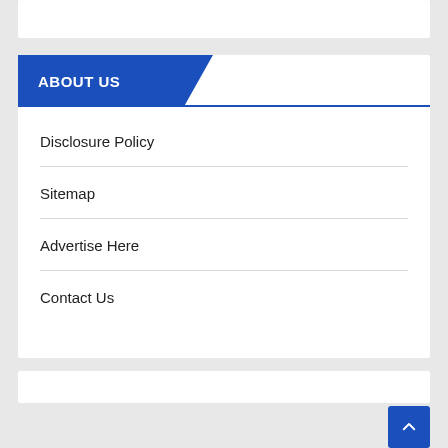ABOUT US
Disclosure Policy
Sitemap
Advertise Here
Contact Us